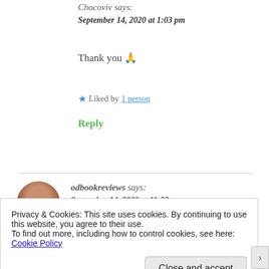Chocoviv says:
September 14, 2020 at 1:03 pm
Thank you 🙏
★ Liked by 1 person
Reply
odbookreviews says:
September 14, 2020 at 11:23 pm
Privacy & Cookies: This site uses cookies. By continuing to use this website, you agree to their use.
To find out more, including how to control cookies, see here: Cookie Policy
Close and accept